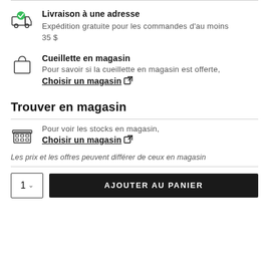Livraison à une adresse — Expédition gratuite pour les commandes d'au moins 35 $
Cueillette en magasin — Pour savoir si la cueillette en magasin est offerte, Choisir un magasin
Trouver en magasin
Pour voir les stocks en magasin, Choisir un magasin
Les prix et les offres peuvent différer de ceux en magasin
1  AJOUTER AU PANIER